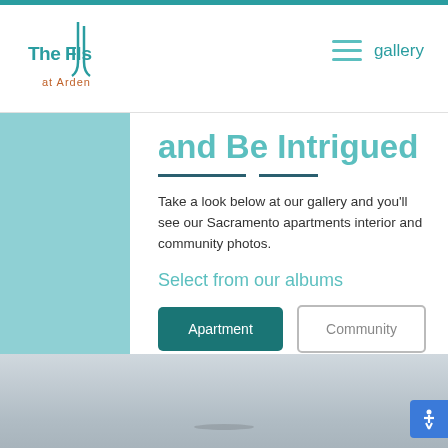The Falls at Arden — gallery
and Be Intrigued
Take a look below at our gallery and you'll see our Sacramento apartments interior and community photos.
Select from our albums
Apartment
Community
[Figure (photo): Bottom photo strip showing an interior room, partially visible]